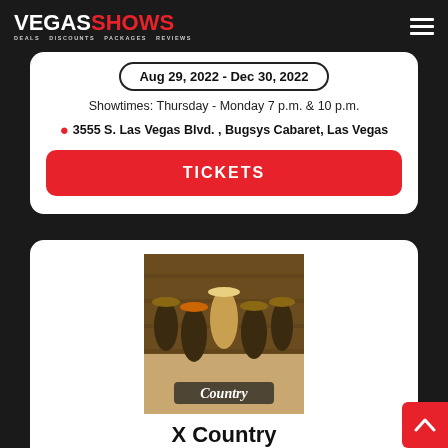VEGASSHOWS - DEALS DISCOUNTS PACKAGES REVIEWS
Aug 29, 2022 - Dec 30, 2022
Showtimes: Thursday - Monday 7 p.m. & 10 p.m.
3555 S. Las Vegas Blvd. , Bugsys Cabaret, Las Vegas
TICKETS
[Figure (photo): Five women in country-themed costumes posing in front of a wooden background, with 'Country' text visible at the bottom]
X Country
Aug 29, 2022 - Dec 30, 2022